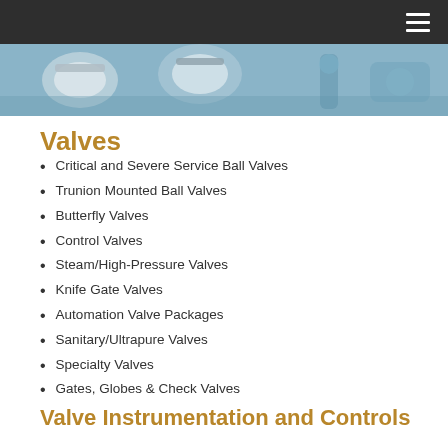[Figure (photo): Dark navigation bar with hamburger menu icon at top right, and a hero image of industrial valves/pipe equipment below]
Valves
Critical and Severe Service Ball Valves
Trunion Mounted Ball Valves
Butterfly Valves
Control Valves
Steam/High-Pressure Valves
Knife Gate Valves
Automation Valve Packages
Sanitary/Ultrapure Valves
Specialty Valves
Gates, Globes & Check Valves
Valve Instrumentation and Controls